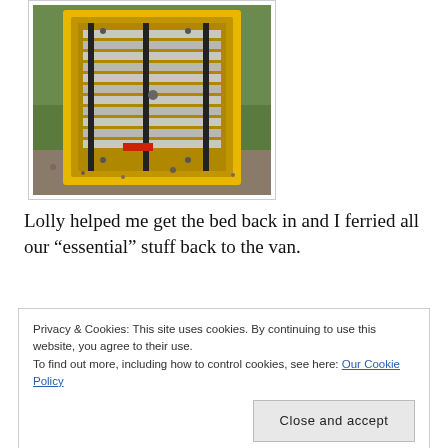[Figure (photo): A yellow van door with interior visible, leaning against green grass/bushes outdoors with gravel on the ground.]
Lolly helped me get the bed back in and I ferried all our “essential” stuff back to the van.
Privacy & Cookies: This site uses cookies. By continuing to use this website, you agree to their use.
To find out more, including how to control cookies, see here: Our Cookie Policy

Close and accept